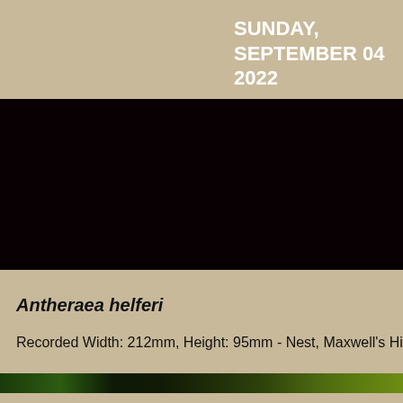SUNDAY, SEPTEMBER 04 2022
[Figure (photo): Black rectangular band representing a photographic image area, nearly entirely dark/black.]
Antheraea helferi
Recorded Width: 212mm,  Height: 95mm  -  Nest, Maxwell's Hill, Malay
[Figure (other): Horizontal color gradient bar showing dark green to olive green tones.]